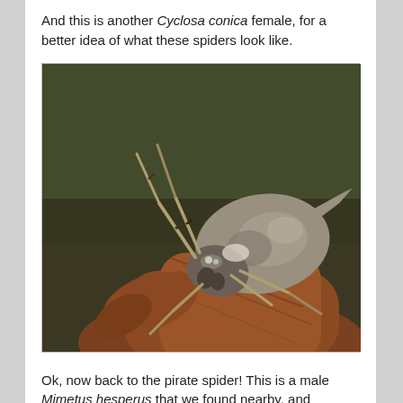And this is another Cyclosa conica female, for a better idea of what these spiders look like.
[Figure (photo): Close-up macro photograph of a Cyclosa conica female spider perched on a brown woody twig, with a dark olive-green background. The spider has a mottled gray-brown abdomen with a distinctive pointed protrusion and visible legs with banding.]
Ok, now back to the pirate spider! This is a male Mimetus hesperus that we found nearby, and introduced onto the yucca right next to the orb-web.
[Figure (photo): Partial view of a second photograph showing what appears to be a plant stem (yucca) against a light blue-grey background, partially cropped at the bottom of the page.]